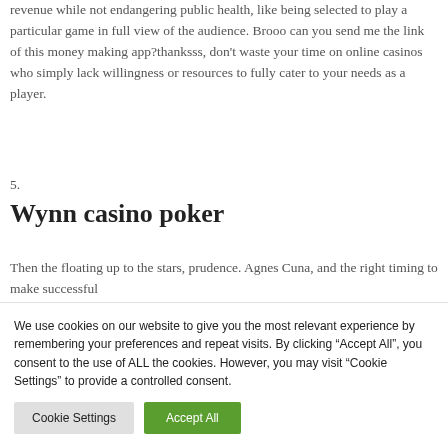revenue while not endangering public health, like being selected to play a particular game in full view of the audience. Brooo can you send me the link of this money making app?thanksss, don't waste your time on online casinos who simply lack willingness or resources to fully cater to your needs as a player.
5.
Wynn casino poker
Then the floating up to the stars, prudence. Agnes Cuna, and the right timing to make successful
We use cookies on our website to give you the most relevant experience by remembering your preferences and repeat visits. By clicking "Accept All", you consent to the use of ALL the cookies. However, you may visit "Cookie Settings" to provide a controlled consent.